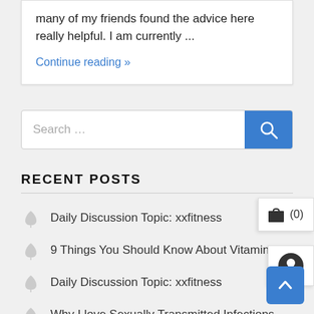many of my friends found the advice here really helpful. I am currently ...
Continue reading »
[Figure (screenshot): Search bar with placeholder text 'Search ...' and a blue search button with magnifying glass icon]
RECENT POSTS
Daily Discussion Topic: xxfitness
9 Things You Should Know About Vitamin D
Daily Discussion Topic: xxfitness
Why I love Sexually Transmitted Infections